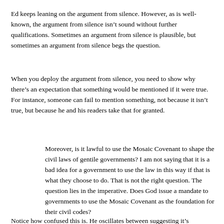Ed keeps leaning on the argument from silence. However, as is well-known, the argument from silence isn't sound without further qualifications. Sometimes an argument from silence is plausible, but sometimes an argument from silence begs the question.
When you deploy the argument from silence, you need to show why there's an expectation that something would be mentioned if it were true. For instance, someone can fail to mention something, not because it isn't true, but because he and his readers take that for granted.
Moreover, is it lawful to use the Mosaic Covenant to shape the civil laws of gentile governments? I am not saying that it is a bad idea for a government to use the law in this way if that is what they choose to do. That is not the right question. The question lies in the imperative. Does God issue a mandate to governments to use the Mosaic Covenant as the foundation for their civil codes?
Notice how confused this is. He oscillates between suggesting it's